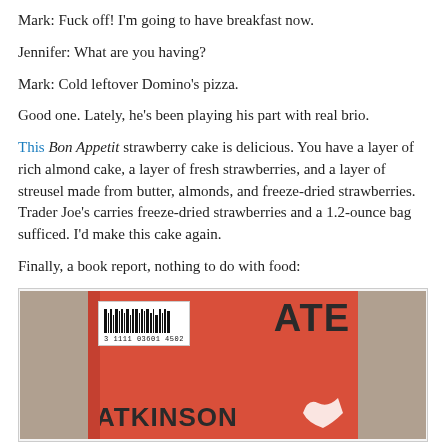Mark: Fuck off! I'm going to have breakfast now.
Jennifer: What are you having?
Mark: Cold leftover Domino's pizza.
Good one. Lately, he's been playing his part with real brio.
This Bon Appetit strawberry cake is delicious. You have a layer of rich almond cake, a layer of fresh strawberries, and a layer of streusel made from butter, almonds, and freeze-dried strawberries. Trader Joe's carries freeze-dried strawberries and a 1.2-ounce bag sufficed. I'd make this cake again.
Finally, a book report, nothing to do with food:
[Figure (photo): Photo of a book cover with red background showing 'ATE ATKINSON' with a barcode sticker in the top left. The book appears to be by Kate Atkinson.]